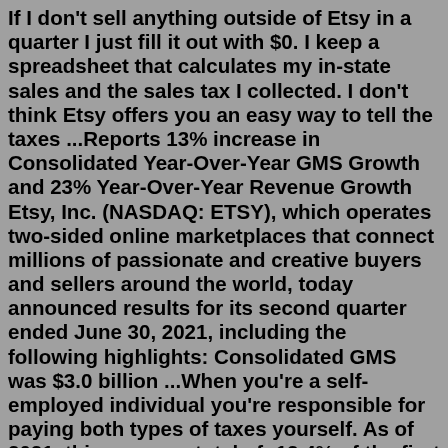If I don't sell anything outside of Etsy in a quarter I just fill it out with $0. I keep a spreadsheet that calculates my in-state sales and the sales tax I collected. I don't think Etsy offers you an easy way to tell the taxes ...Reports 13% increase in Consolidated Year-Over-Year GMS Growth and 23% Year-Over-Year Revenue Growth Etsy, Inc. (NASDAQ: ETSY), which operates two-sided online marketplaces that connect millions of passionate and creative buyers and sellers around the world, today announced results for its second quarter ended June 30, 2021, including the following highlights: Consolidated GMS was $3.0 billion ...When you're a self-employed individual you're responsible for paying both types of taxes yourself. As of 2021, this means a total of: 12.4% of the first $142,800 you earn for Social Security tax 2.9% of your total income for Medicare If your income is greater than this amount, then you will likely be subject to an additional Medicare tax of 0.9%.Let's go over the steps to finding your in-state sales totals and some other relevant info for your...